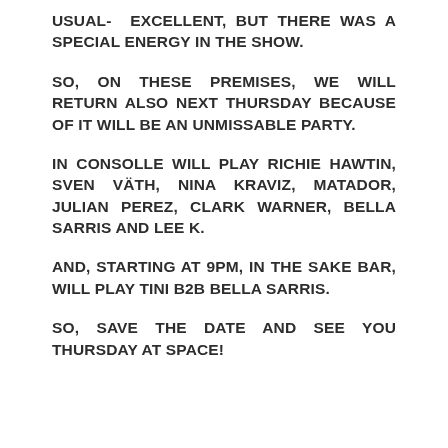USUAL- EXCELLENT, BUT THERE WAS A SPECIAL ENERGY IN THE SHOW.
SO, ON THESE PREMISES, WE WILL RETURN ALSO NEXT THURSDAY BECAUSE OF IT WILL BE AN UNMISSABLE PARTY.
IN CONSOLLE WILL PLAY RICHIE HAWTIN, SVEN VÄTH, NINA KRAVIZ, MATADOR, JULIAN PEREZ, CLARK WARNER, BELLA SARRIS AND LEE K.
AND, STARTING AT 9PM, IN THE SAKE BAR, WILL PLAY TINI B2B BELLA SARRIS.
SO, SAVE THE DATE AND SEE YOU THURSDAY AT SPACE!